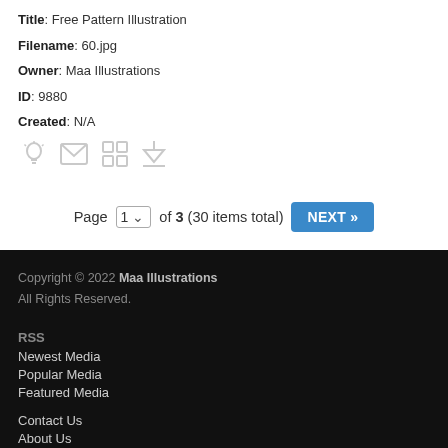Title: Free Pattern Illustration
Filename: 60.jpg
Owner: Maa Illustrations
ID: 9880
Created: N/A
[Figure (illustration): Row of four icon symbols: lightbulb, envelope, grid, download arrow]
Page 1 of 3 (30 items total) NEXT »
Copyright © 2022 Maa Illustrations All Rights Reserved. RSS Newest Media Popular Media Featured Media Contact Us About Us